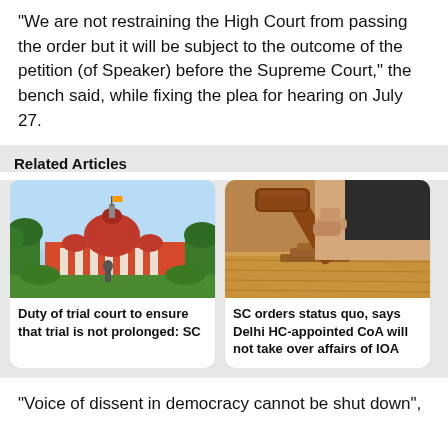“We are not restraining the High Court from passing the order but it will be subject to the outcome of the petition (of Speaker) before the Supreme Court,” the bench said, while fixing the plea for hearing on July 27.
Related Articles
[Figure (photo): Exterior photo of the Supreme Court of India building with red dome and greenery]
Duty of trial court to ensure that trial is not prolonged: SC
[Figure (photo): A judge's wooden gavel on a desk with a hand holding it]
SC orders status quo, says Delhi HC-appointed CoA will not take over affairs of IOA
“Voice of dissent in democracy cannot be shut down”,